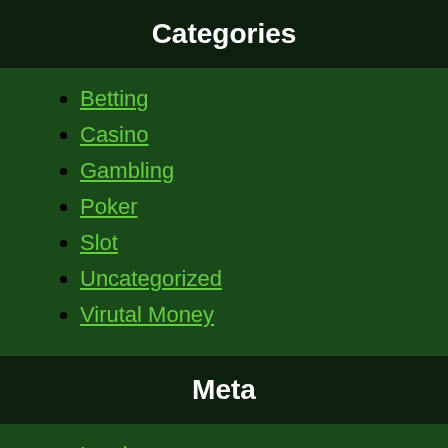Categories
Betting
Casino
Gambling
Poker
Slot
Uncategorized
Virutal Money
Meta
Log in
Entries feed
Comments feed